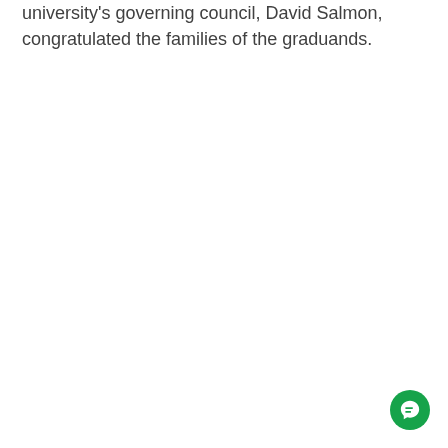university's governing council, David Salmon, congratulated the families of the graduands.
[Figure (other): Green circular chat/messaging button in bottom-right corner]